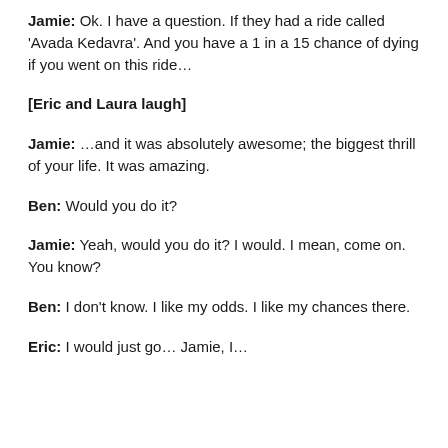Jamie: Ok. I have a question. If they had a ride called 'Avada Kedavra'. And you have a 1 in a 15 chance of dying if you went on this ride…
[Eric and Laura laugh]
Jamie: …and it was absolutely awesome; the biggest thrill of your life. It was amazing.
Ben: Would you do it?
Jamie: Yeah, would you do it? I would. I mean, come on. You know?
Ben: I don't know. I like my odds. I like my chances there.
Eric: I would just go… Jamie, I…